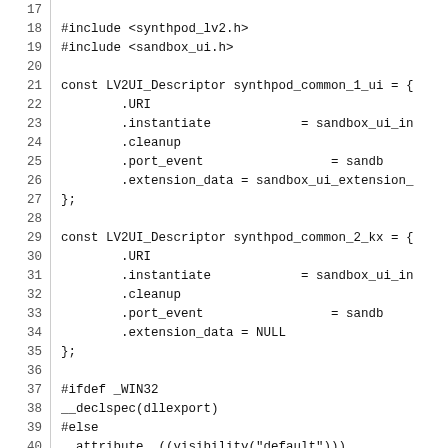Source code listing lines 17-46 showing C code with LV2UI_Descriptor structs, preprocessor directives, and lv2ui_descriptor function definition.